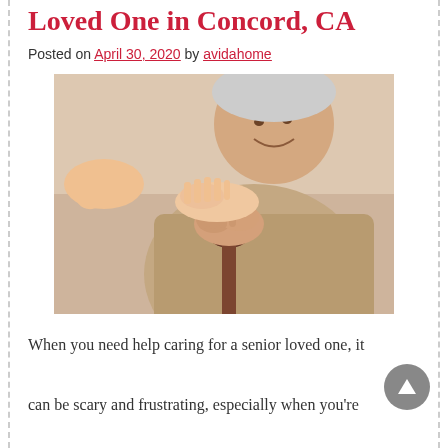Home Care for Your Senior Loved One in Concord, CA
Posted on April 30, 2020 by avidahome
[Figure (photo): Elderly person smiling, holding a wooden cane with both hands, while a caregiver's hand rests on top in a supportive gesture.]
When you need help caring for a senior loved one, it can be scary and frustrating, especially when you're the only one doing all the work. If you've gotten to the point that you can't do it alone anymore, give Avida